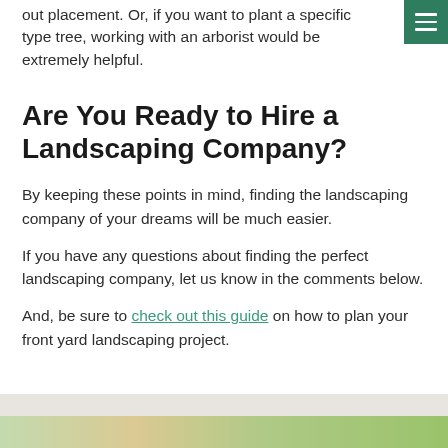out placement. Or, if you want to plant a specific type tree, working with an arborist would be extremely helpful.
Are You Ready to Hire a Landscaping Company?
By keeping these points in mind, finding the landscaping company of your dreams will be much easier.
If you have any questions about finding the perfect landscaping company, let us know in the comments below.
And, be sure to check out this guide on how to plan your front yard landscaping project.